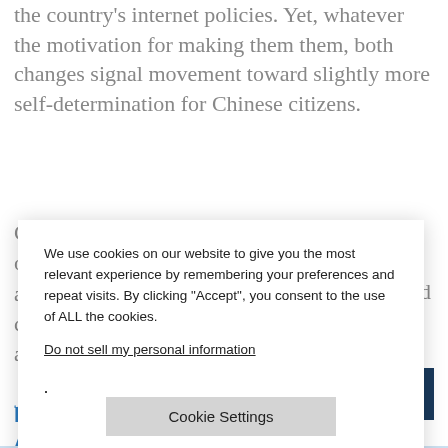the country's internet policies. Yet, whatever the motivation for making them them, both changes signal movement toward slightly more self-determination for Chinese citizens.
C joins the ranks o governed by a ges, especially c new Chinese a
[Figure (screenshot): Cookie consent modal dialog with text: 'We use cookies on our website to give you the most relevant experience by remembering your preferences and repeat visits. By clicking "Accept", you consent to the use of ALL the cookies.' with a 'Do not sell my personal information' link, a 'Cookie Settings' button, and 'Accept' and 'Reject All' buttons.]
J
R 0% Off Any A